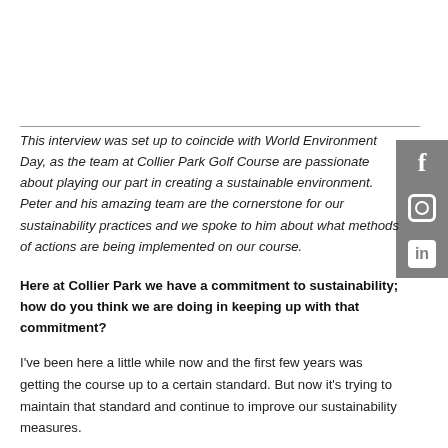This interview was set up to coincide with World Environment Day, as the team at Collier Park Golf Course are passionate about playing our part in creating a sustainable environment. Peter and his amazing team are the cornerstone for our sustainability practices and we spoke to him about what methods of actions are being implemented on our course.
Here at Collier Park we have a commitment to sustainability; how do you think we are doing in keeping up with that commitment?
I've been here a little while now and the first few years was getting the course up to a certain standard. But now it's trying to maintain that standard and continue to improve our sustainability measures.